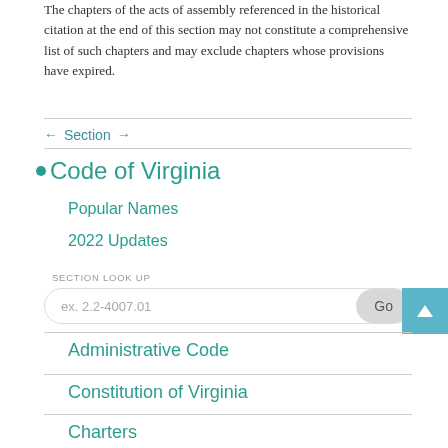The chapters of the acts of assembly referenced in the historical citation at the end of this section may not constitute a comprehensive list of such chapters and may exclude chapters whose provisions have expired.
← Section →
• Code of Virginia
Popular Names
2022 Updates
SECTION LOOK UP
ex. 2.2-4007.01  Go
Administrative Code
Constitution of Virginia
Charters